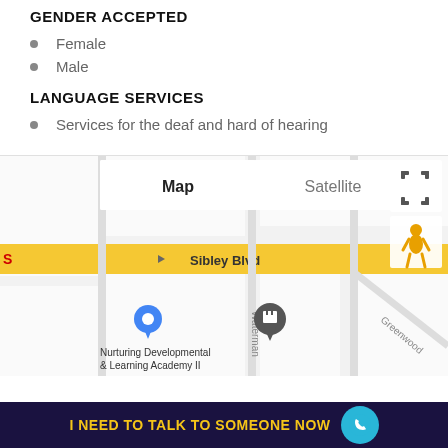GENDER ACCEPTED
Female
Male
LANGUAGE SERVICES
Services for the deaf and hard of hearing
[Figure (map): Google Maps view showing Sibley Blvd with a location pin near Nurturing Developmental & Learning Academy II, with Map/Satellite toggle buttons and a street view human icon.]
I NEED TO TALK TO SOMEONE NOW